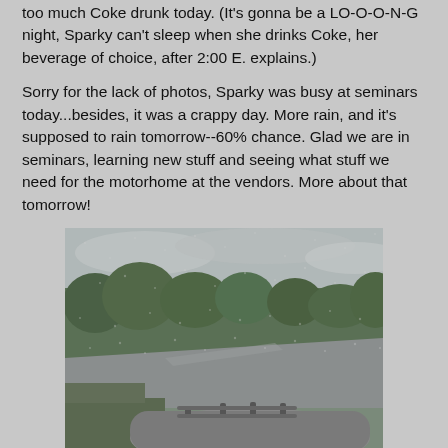too much Coke drunk today. (It's gonna be a LO-O-O-N-G night, Sparky can't sleep when she drinks Coke, her beverage of choice, after 2:00 E. explains.)
Sorry for the lack of photos, Sparky was busy at seminars today...besides, it was a crappy day. More rain, and it's supposed to rain tomorrow--60% chance. Glad we are in seminars, learning new stuff and seeing what stuff we need for the motorhome at the vendors. More about that tomorrow!
[Figure (photo): View from inside a vehicle looking out through the windshield at a rainy day scene with wet road, trees, overcast sky, and cars. The roof rack of another car is visible in the foreground.]
I love rainy days...just hope we don't get stuck when we pull